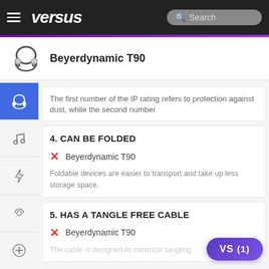versus — Search
Beyerdynamic T90
The first number of the IP rating refers to protection against dust, while the second number
4. CAN BE FOLDED
✗ Beyerdynamic T90
Foldable devices are easier to transport and take up less storage space.
5. HAS A TANGLE FREE CABLE
✗ Beyerdynamic T90
The cable is designed to minimize tangling